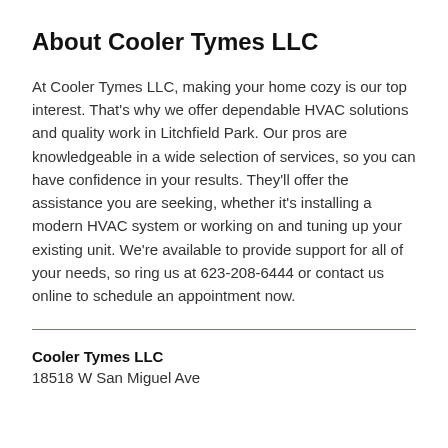About Cooler Tymes LLC
At Cooler Tymes LLC, making your home cozy is our top interest. That's why we offer dependable HVAC solutions and quality work in Litchfield Park. Our pros are knowledgeable in a wide selection of services, so you can have confidence in your results. They'll offer the assistance you are seeking, whether it's installing a modern HVAC system or working on and tuning up your existing unit. We're available to provide support for all of your needs, so ring us at 623-208-6444 or contact us online to schedule an appointment now.
Cooler Tymes LLC
18518 W San Miguel Ave